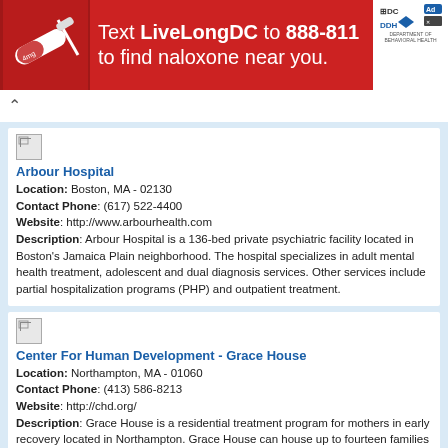[Figure (other): Red banner advertisement: 'Text LiveLongDC to 888-811 to find naloxone near you.' with DC and DDH logos on the right, and a pill/syringe image on the left.]
Arbour Hospital
Location: Boston, MA - 02130
Contact Phone: (617) 522-4400
Website: http://www.arbourhealth.com
Description: Arbour Hospital is a 136-bed private psychiatric facility located in Boston’s Jamaica Plain neighborhood. The hospital specializes in adult mental health treatment, adolescent and dual diagnosis services. Other services include partial hospitalization programs (PHP) and outpatient treatment.
Center For Human Development - Grace House
Location: Northampton, MA - 01060
Contact Phone: (413) 586-8213
Website: http://chd.org/
Description: Grace House is a residential treatment program for mothers in early recovery located in Northampton. Grace House can house up to fourteen families in a collective living environment, where families share space and resources in an effort to build sober community and peaceful living. As a therapeutic setting, we strive to provide each family with a safe, nurturing environment where mothers and their children can experience success. We want our families to have the opportunity to grow emotionally, socially, and spiritually through